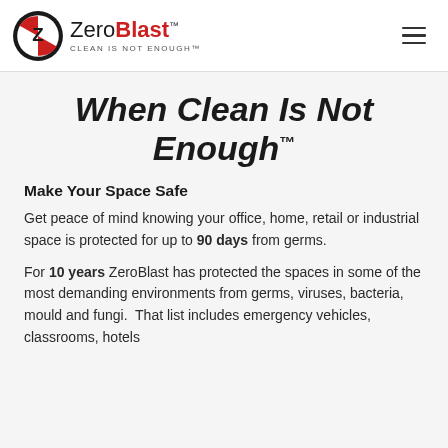ZeroBlast™ — CLEAN IS NOT ENOUGH™
When Clean Is Not Enough™
Make Your Space Safe
Get peace of mind knowing your office, home, retail or industrial space is protected for up to 90 days from germs.
For 10 years ZeroBlast has protected the spaces in some of the most demanding environments from germs, viruses, bacteria, mould and fungi. That list includes emergency vehicles, classrooms, hotels